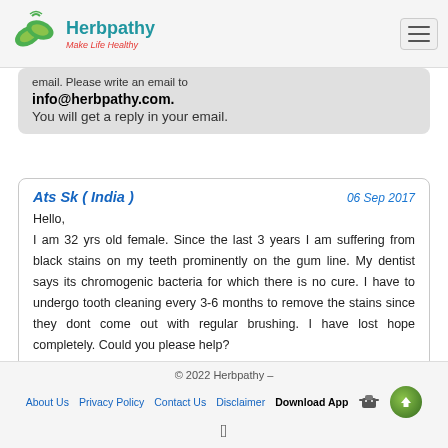Herbpathy - Make Life Healthy
email. Please write an email to info@herbpathy.com. You will get a reply in your email.
Ats Sk ( India ) | 06 Sep 2017
Hello,
I am 32 yrs old female. Since the last 3 years I am suffering from black stains on my teeth prominently on the gum line. My dentist says its chromogenic bacteria for which there is no cure. I have to undergo tooth cleaning every 3-6 months to remove the stains since they dont come out with regular brushing. I have lost hope completely. Could you please help?
© 2022 Herbpathy – | About Us | Privacy Policy | Contact Us | Disclaimer | Download App